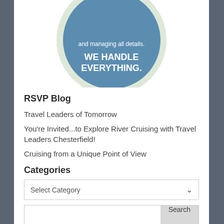[Figure (illustration): Circular badge with light green outer ring and blue inner circle. Text inside reads 'and managing all details.' and bold 'WE HANDLE EVERYTHING.' in white on blue background.]
RSVP Blog
Travel Leaders of Tomorrow
You're Invited...to Explore River Cruising with Travel Leaders Chesterfield!
Cruising from a Unique Point of View
Categories
Select Category
Search